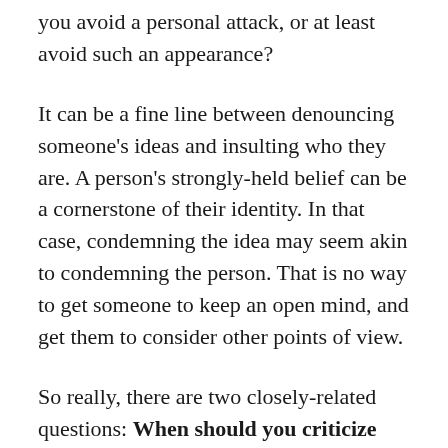you avoid a personal attack, or at least avoid such an appearance?
It can be a fine line between denouncing someone's ideas and insulting who they are. A person's strongly-held belief can be a cornerstone of their identity. In that case, condemning the idea may seem akin to condemning the person. That is no way to get someone to keep an open mind, and get them to consider other points of view.
So really, there are two closely-related questions: When should you criticize someone? And how should you criticize someone in order to get them to listen?